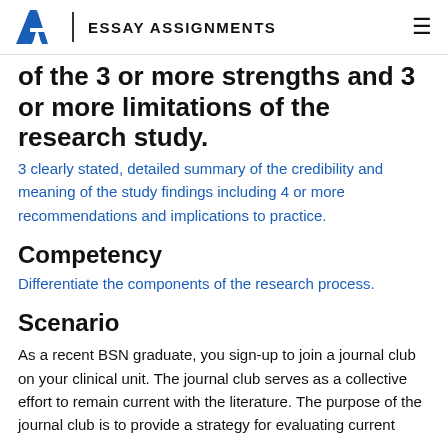EA | ESSAY ASSIGNMENTS
of the 3 or more strengths and 3 or more limitations of the research study.
3 clearly stated, detailed summary of the credibility and meaning of the study findings including 4 or more recommendations and implications to practice.
Competency
Differentiate the components of the research process.
Scenario
As a recent BSN graduate, you sign-up to join a journal club on your clinical unit. The journal club serves as a collective effort to remain current with the literature. The purpose of the journal club is to provide a strategy for evaluating current